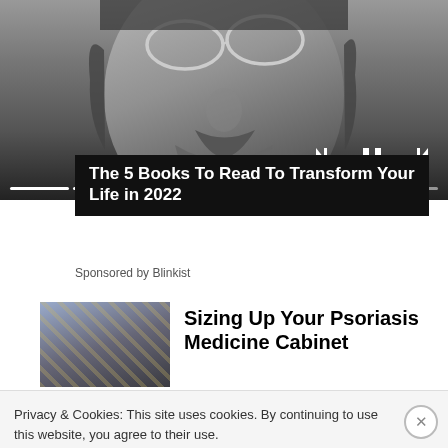[Figure (screenshot): Black and white close-up photo of a man's face with glasses, mustache and beard, with video player controls (skip back, pause, skip forward) and a progress bar overlay at the bottom]
The 5 Books To Read To Transform Your Life in 2022
Sponsored by Blinkist
[Figure (photo): Thumbnail image of a store or market scene with bokeh lights in the background]
Sizing Up Your Psoriasis Medicine Cabinet
Privacy & Cookies: This site uses cookies. By continuing to use this website, you agree to their use.
To find out more, including how to control cookies, see here: Cookie Policy